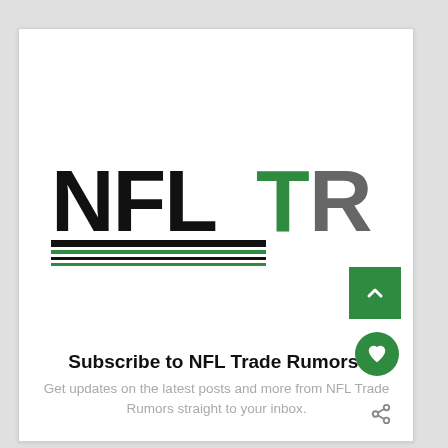[Figure (logo): NFL Trade Rumors logo: bold black 'NFL' text with bold green 'T' and bold gray 'R', with horizontal decorative lines below in black and green]
Subscribe to NFL Trade Rumors!
Get updates on the latest posts and more from NFL Trade Rumors straight to your inbox.